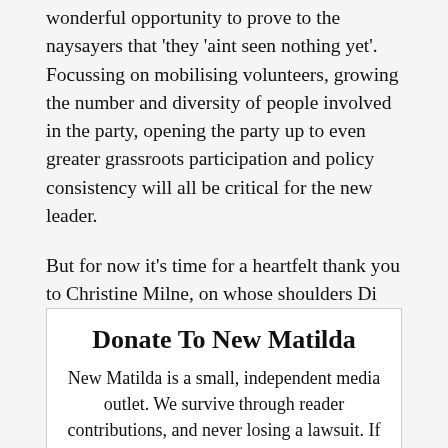wonderful opportunity to prove to the naysayers that 'they 'aint seen nothing yet'. Focussing on mobilising volunteers, growing the number and diversity of people involved in the party, opening the party up to even greater grassroots participation and policy consistency will all be critical for the new leader.
But for now it's time for a heartfelt thank you to Christine Milne, on whose shoulders Di Natale and his team will be standing as they embark on generational change.
Donate To New Matilda
New Matilda is a small, independent media outlet. We survive through reader contributions, and never losing a lawsuit. If